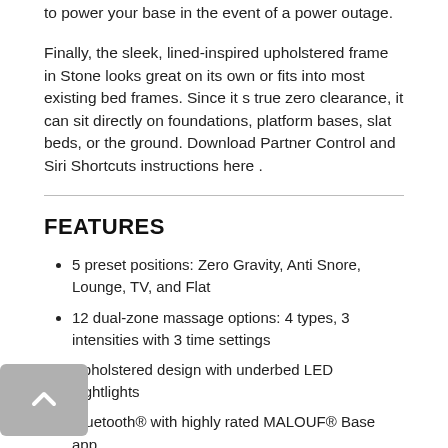to power your base in the event of a power outage.
Finally, the sleek, lined-inspired upholstered frame in Stone looks great on its own or fits into most existing bed frames. Since it s true zero clearance, it can sit directly on foundations, platform bases, slat beds, or the ground. Download Partner Control and Siri Shortcuts instructions here .
FEATURES
5 preset positions: Zero Gravity, Anti Snore, Lounge, TV, and Flat
12 dual-zone massage options: 4 types, 3 intensities with 3 time settings
Upholstered design with underbed LED nightlights
Bluetooth® with highly rated MALOUF® Base app
5 programmable positions can be customized and saved; child lock safety feature and dual USB